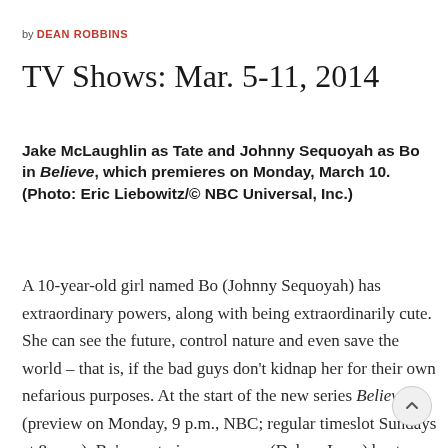by DEAN ROBBINS
TV Shows: Mar. 5-11, 2014
Jake McLaughlin as Tate and Johnny Sequoyah as Bo in Believe, which premieres on Monday, March 10. (Photo: Eric Liebowitz/© NBC Universal, Inc.)
A 10-year-old girl named Bo (Johnny Sequoyah) has extraordinary powers, along with being extraordinarily cute. She can see the future, control nature and even save the world – that is, if the bad guys don't kidnap her for their own nefarious purposes. At the start of the new series Believe (preview on Monday, 9 p.m., NBC; regular timeslot Sundays at 8 p.m.), Bo's mysterious overseer (Delroy La… busts death-row inmate Tate (Jake McLaughlin) out of